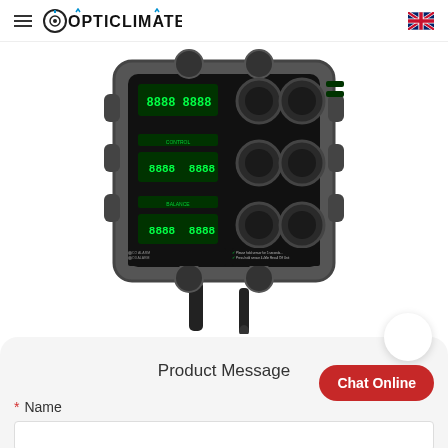OPTICLIMATE
[Figure (photo): OptiClimate climate controller device shown from the front, with green LED displays, black knobs/ports, cables at bottom, on white background]
Product Message
Chat Online
* Name